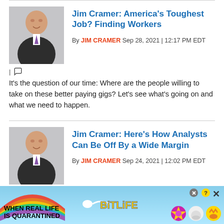Jim Cramer: America's Toughest Job? Finding Workers
By JIM CRAMER  Sep 28, 2021  |  12:17 PM EDT
It's the question of our time: Where are the people willing to take on these better paying gigs? Let's see what's going on and what we need to happen.
Jim Cramer: Here's How Analysts Can Be Off By a Wide Margin
By JIM CRAMER  Sep 24, 2021  |  12:02 PM EDT
Let's look at the reactions to Nike, Costco and Salesforce to see what happens when they're viewed from a real world perspective.
[Figure (screenshot): BitLife advertisement banner at bottom of page]